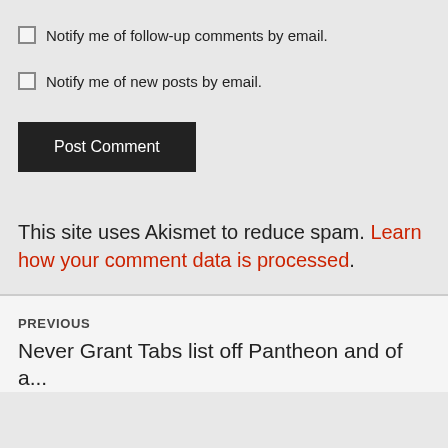Notify me of follow-up comments by email.
Notify me of new posts by email.
Post Comment
This site uses Akismet to reduce spam. Learn how your comment data is processed.
PREVIOUS
Never Grant Tabs list off Pantheon and of a...